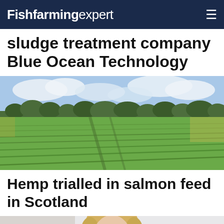Fishfarming expert
sludge treatment company Blue Ocean Technology
[Figure (photo): Wide agricultural field with rows of green crops, trees visible on the horizon under a partly cloudy sky.]
Hemp trialled in salmon feed in Scotland
[Figure (photo): Partial view of a person (cropped), bottom portion of page.]